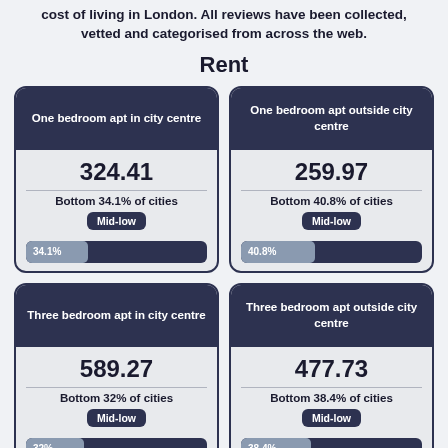cost of living in London. All reviews have been collected, vetted and categorised from across the web.
Rent
[Figure (infographic): Card: One bedroom apt in city centre, value 324.41, Bottom 34.1% of cities, Mid-low badge, progress bar 34.1%]
[Figure (infographic): Card: One bedroom apt outside city centre, value 259.97, Bottom 40.8% of cities, Mid-low badge, progress bar 40.8%]
[Figure (infographic): Card: Three bedroom apt in city centre, value 589.27, Bottom 32% of cities]
[Figure (infographic): Card: Three bedroom apt outside city centre, value 477.73, Bottom 38.4% of cities]